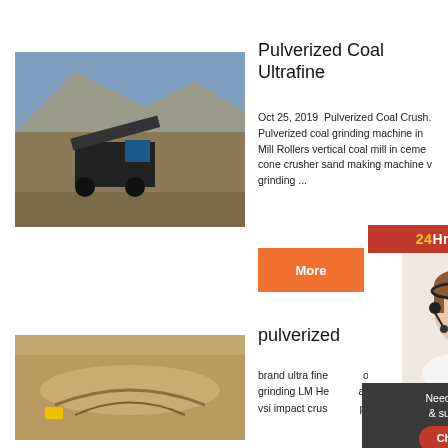[Figure (photo): Mining/crushing equipment at a quarry site with rocky terrain and blue sky]
Pulverized Coal Ultrafine
Oct 25, 2019  Pulverized Coal Crush. Pulverized coal grinding machine in Mill Rollers vertical coal mill in ceme cone crusher sand making machine v grinding ...
More
[Figure (photo): Agent/customer support representative with headset smiling]
24Hrs Online
Need questions & suggestion?
Chat Now
Enquiry
limingjlmofen
[Figure (photo): Excavation or mining site with rock and soil]
pulverized g
brand ultra fine grinding LM He vsi impact crus p